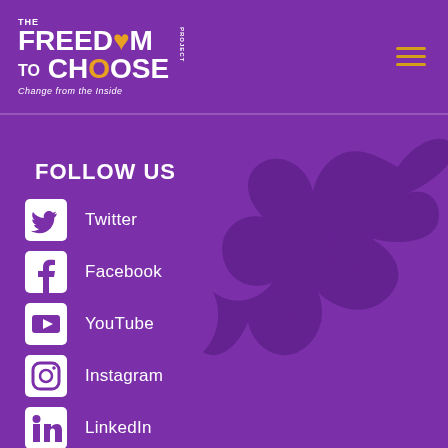[Figure (logo): The Freedom to Choose Project logo — white text on purple background with tagline 'Change from the Inside']
[Figure (illustration): Purple dove/bird silhouette watermark on purple background]
FOLLOW US
Twitter
Facebook
YouTube
Instagram
LinkedIn
Mighty Network